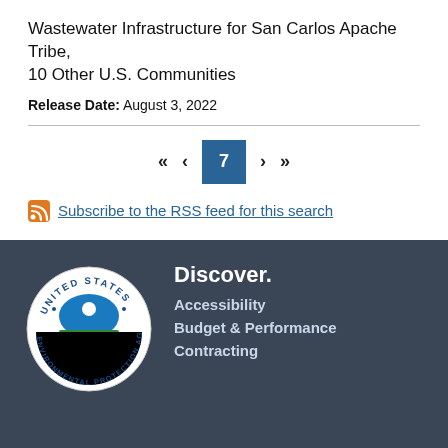Wastewater Infrastructure for San Carlos Apache Tribe, 10 Other U.S. Communities
Release Date: August 3, 2022
« < 7 > »
Subscribe to the RSS feed for this search
Discover. Accessibility Budget & Performance Contracting